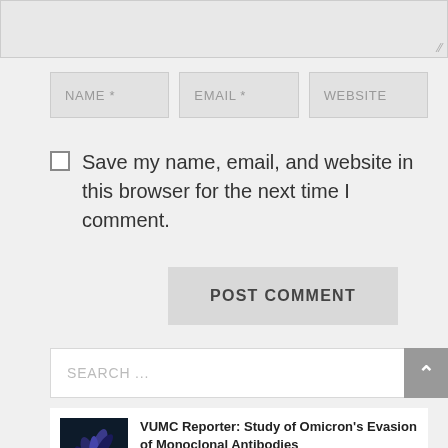[Figure (screenshot): Textarea input stub at top of page with resize handle icon]
NAME *   EMAIL *   WEBSITE
Save my name, email, and website in this browser for the next time I comment.
POST COMMENT
SEARCH ...
VUMC Reporter: Study of Omicron's Evasion of Monoclonal Antibodies
Jan 25, 2022 | Innovation